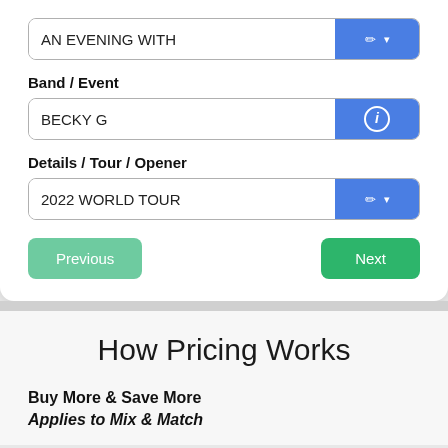AN EVENING WITH
Band / Event
BECKY G
Details / Tour / Opener
2022 WORLD TOUR
Previous
Next
How Pricing Works
Buy More & Save More
Applies to Mix & Match